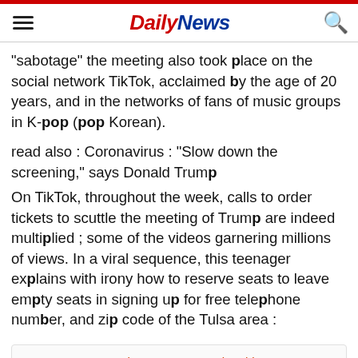Daily News
"sabotage" the meeting also took place on the social network TikTok, acclaimed by the age of 20 years, and in the networks of fans of music groups in K-pop (pop Korean).
read also : Coronavirus : "Slow down the screening," says Donald Trump
On TikTok, throughout the week, calls to order tickets to scuttle the meeting of Trump are indeed multiplied ; some of the videos garnering millions of views. In a viral sequence, this teenager explains with irony how to reserve seats to leave empty seats in signing up for free telephone number, and zip code of the Tulsa area :
generic.comment_membership